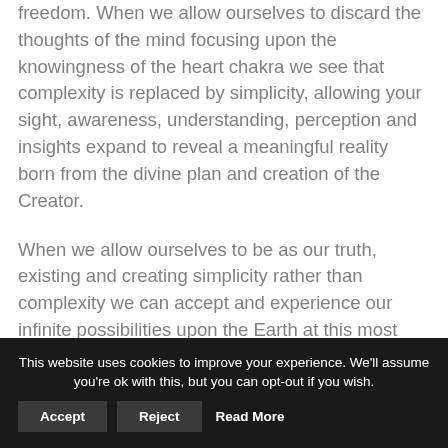freedom. When we allow ourselves to discard the thoughts of the mind focusing upon the knowingness of the heart chakra we see that complexity is replaced by simplicity, allowing your sight, awareness, understanding, perception and insights expand to reveal a meaningful reality born from the divine plan and creation of the Creator.
When we allow ourselves to be as our truth, existing and creating simplicity rather than complexity we can accept and experience our infinite possibilities upon the Earth at this most sacred time. It is my wish for you to understand that whether you hold a positive or negative frame of mind you are allowing yourself to open up to the immeasurable possibilities of the Earth at this time. If a person is worrying about the end of the Earth or a catastrophe occurring
This website uses cookies to improve your experience. We'll assume you're ok with this, but you can opt-out if you wish. Accept Reject Read More